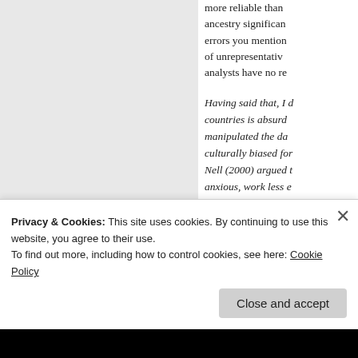more reliable than ancestry significantly errors you mention of unrepresentative analysts have no re
Having said that, I d countries is absurd manipulated the da culturally biased for Nell (2000) argued t anxious, work less e difficult
IQ scores in the me
Privacy & Cookies: This site uses cookies. By continuing to use this website, you agree to their use. To find out more, including how to control cookies, see here: Cookie Policy
Close and accept